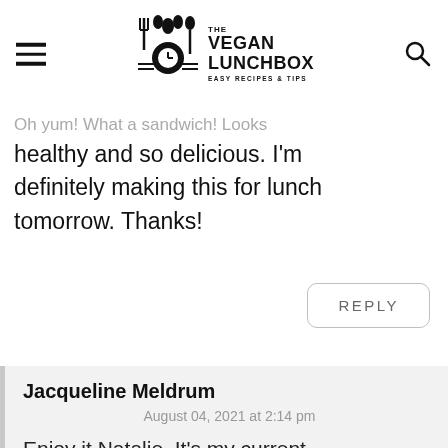THE VEGAN LUNCHBOX — EASY RECIPES & TIPS
Oh yum! What a sandwich! Looks healthy and so delicious. I'm definitely making this for lunch tomorrow. Thanks!
REPLY
Jacqueline Meldrum
August 04, 2021 at 2:14 pm
Enjoy it Natalie. It's my current